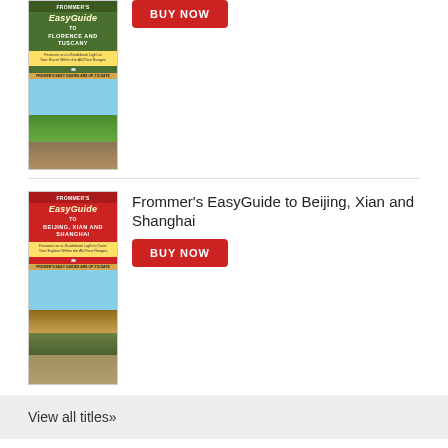[Figure (illustration): Book cover for Frommer's EasyGuide to Florence and Tuscany, partial view showing top portion with red/green cover and landscape photo]
BUY NOW
[Figure (illustration): Book cover for Frommer's EasyGuide to Beijing, Xian and Shanghai, red cover with Great Wall photo]
Frommer's EasyGuide to Beijing, Xian and Shanghai
BUY NOW
View all titles»
Advertisement
GET INSPIRED FOR YOUR NEXT VACATION